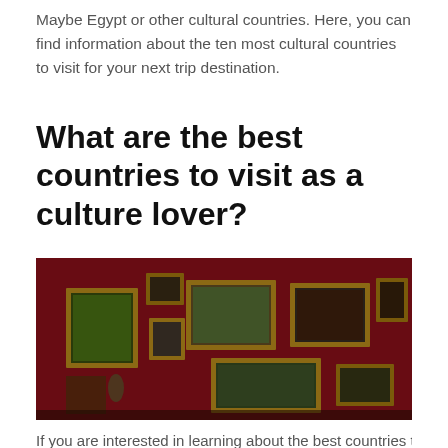Maybe Egypt or other cultural countries. Here, you can find information about the ten most cultural countries to visit for your next trip destination.
What are the best countries to visit as a culture lover?
[Figure (photo): A gallery-style red-walled room covered with ornate gold-framed classical paintings of various sizes arranged salon-style on a deep red damask wall.]
If you are interested in learning about the best countries to visit